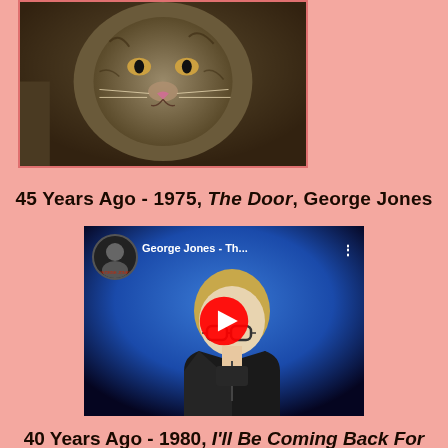[Figure (photo): Photo of a cat, dark tortoiseshell coloring, framed with pinkish-red border]
45 Years Ago - 1975, The Door, George Jones
[Figure (screenshot): YouTube video thumbnail showing George Jones - Th... with a man in black leather jacket on blue background, red play button overlay, circular avatar top left]
40 Years Ago - 1980, I'll Be Coming Back For More, T.G.Sheppard